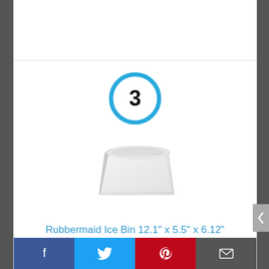[Figure (other): Number 3 badge in a blue circle]
[Figure (photo): Rubbermaid white ice bin product photo]
Rubbermaid Ice Bin 12.1" x 5.5" x 6.12"
By Rubbermaid
View Product
Facebook | Twitter | Pinterest | Email